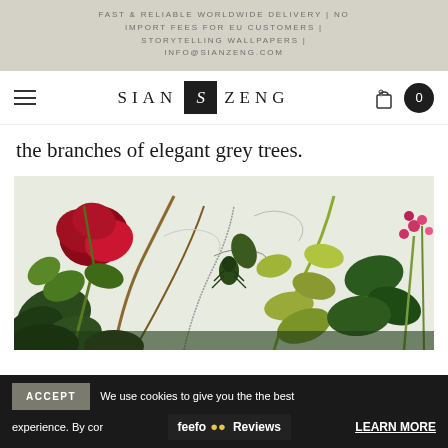FAST & RELIABLE WORLDWIDE DELIVERY | NO IMPORT FEES FOR EU CUSTOMERS | STORYTELLING WALLPAPERS | INFO@SIANZENG.COM
[Figure (logo): Sian Zeng brand navigation bar with hamburger menu, SIAN S ZENG logo with S monogram in dark square, shopping bag icon, and cart badge showing 0]
the branches of elegant grey trees.
[Figure (photo): Close-up botanical wallpaper illustration featuring colourful plants, red hibiscus flowers, green leaves, climbing vines, a beetle, and botanical sketch elements on a light background]
ACCEPT   We use cookies to give you the the best experience. By cor...   feefo Reviews   LEARN MORE